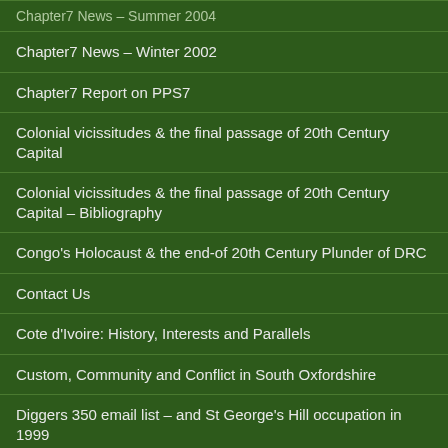Chapter7 News – Summer 2004
Chapter7 News – Winter 2002
Chapter7 Report on PPS7
Colonial vicissitudes & the final passage of 20th Century Capital
Colonial vicissitudes & the final passage of 20th Century Capital – Bibliography
Congo's Holocaust & the end-of 20th Century Plunder of DRC
Contact Us
Cote d'Ivoire: History, Interests and Parallels
Custom, Community and Conflict in South Oxfordshire
Diggers 350 email list – and St George's Hill occupation in 1999
Diggers350 Links
Diggers350 Maps
Diggers350 Pictures